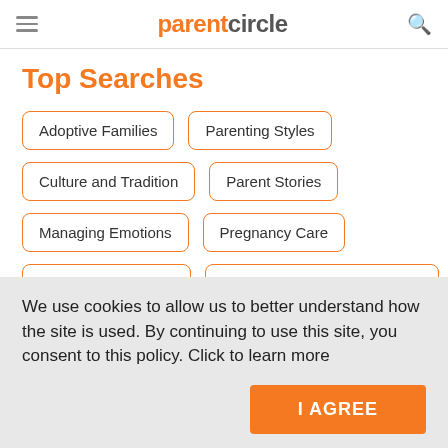parentcircle
Top Searches
Adoptive Families
Parenting Styles
Culture and Tradition
Parent Stories
Managing Emotions
Pregnancy Care
Grandparent Stories
Becoming A Confident Parent
We use cookies to allow us to better understand how the site is used. By continuing to use this site, you consent to this policy. Click to learn more
I AGREE